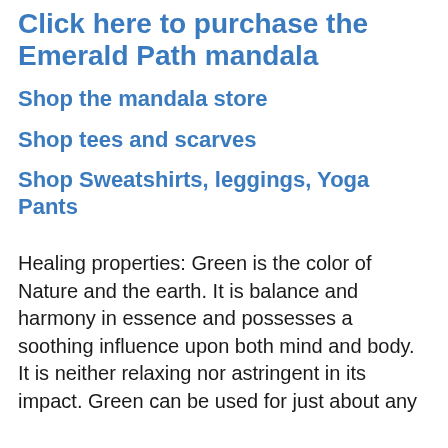Click here to purchase the Emerald Path mandala
Shop the mandala store
Shop tees and scarves
Shop Sweatshirts, leggings, Yoga Pants
Healing properties: Green is the color of Nature and the earth. It is balance and harmony in essence and possesses a soothing influence upon both mind and body. It is neither relaxing nor astringent in its impact. Green can be used for just about any